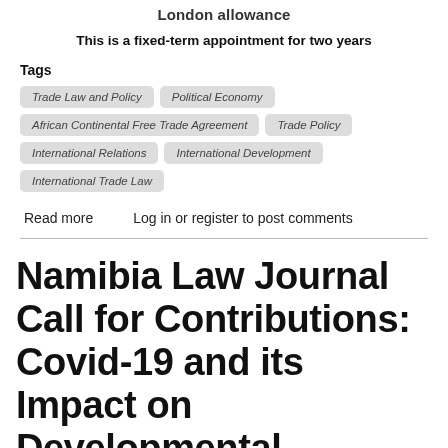London allowance
This is a fixed-term appointment for two years
Tags
Trade Law and Policy
Political Economy
African Continental Free Trade Agreement
Trade Policy
International Relations
International Development
International Trade Law
Read more   Log in or register to post comments
Namibia Law Journal Call for Contributions: Covid-19 and its Impact on Developmental